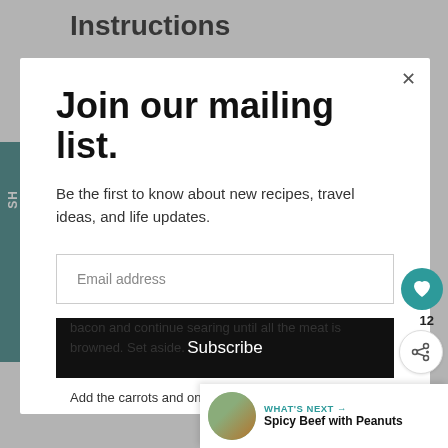Instructions
Preheat oven to 350 degrees F.
Join our mailing list.
Be the first to know about new recipes, travel ideas, and life updates.
Email address
Subscribe
bacon and continue searing until all the meat is browned. Set aside.
Add the carrots and onions to the pot and season
WHAT'S NEXT → Spicy Beef with Peanuts